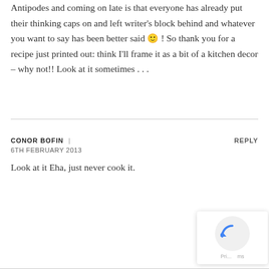Antipodes and coming on late is that everyone has already put their thinking caps on and left writer's block behind and whatever you want to say has been better said 🙂 ! So thank you for a recipe just printed out: think I'll frame it as a bit of a kitchen decor – why not!! Look at it sometimes . . .
CONOR BOFIN | REPLY
6TH FEBRUARY 2013
Look at it Eha, just never cook it.